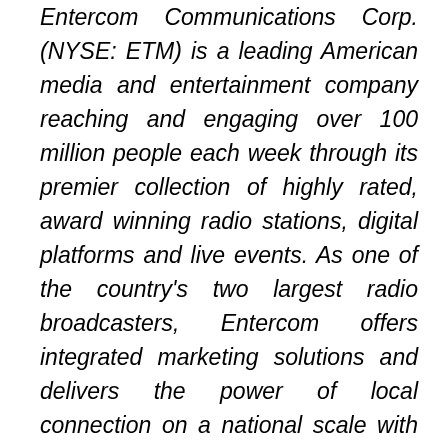Entercom Communications Corp. (NYSE: ETM) is a leading American media and entertainment company reaching and engaging over 100 million people each week through its premier collection of highly rated, award winning radio stations, digital platforms and live events. As one of the country's two largest radio broadcasters, Entercom offers integrated marketing solutions and delivers the power of local connection on a national scale with coverage of close to 90% of persons 12+ in the top 50 markets. Entercom is the #1 creator of live, original, local audio content and the nation's unrivaled leader in news and sports radio. Learn more about